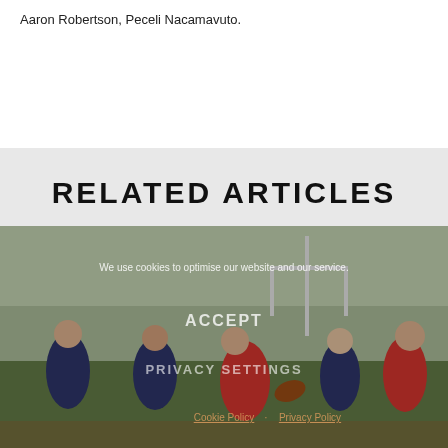Aaron Robertson, Peceli Nacamavuto.
RELATED ARTICLES
[Figure (photo): Rugby match action photo showing players in red and navy/white striped jerseys in a tackle/running scene on a grass pitch, with a cookie consent overlay showing 'We use cookies to optimise our website and our service.' with ACCEPT and PRIVACY SETTINGS buttons, and Cookie Policy / Privacy Policy links.]